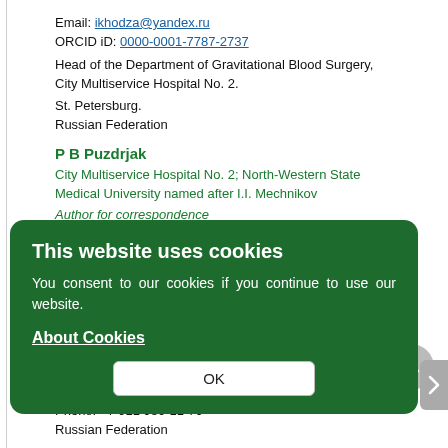Email: ikhodza@yandex.ru
ORCID iD: 0000-0001-7787-2737
Head of the Department of Gravitational Blood Surgery, City Multiservice Hospital No. 2.
St. Petersburg.
Russian Federation
P B Puzdrjak
City Multiservice Hospital No. 2; North-Western State Medical University named after I.I. Mechnikov
Author for correspondence
Email: nttps://dokrjak@yandex.ru
ORCID iD: 0000-0003-2631-3622
http://www.doctorpuzdrjak.com
Cardiovascular Surgeon for Emergency Care; Department of Vascular Surgery, City Multiservice Hospital No. 2; Postgraduate Student, Department of General Surgery, North-Western State Medical University named after I.I. Mechnikov
194354, St. Petersburg, Uchebniy lane, 5.
Phone: +7 911 980-11-70
Russian Federation
P B. Bondarenko
[Figure (screenshot): Cookie consent overlay dialog with dark green background, title 'This website uses cookies', body text 'You consent to our cookies if you continue to use our website.', link 'About Cookies', and OK button]